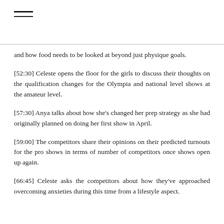[Figure (other): Hamburger menu icon with two horizontal lines]
and how food needs to be looked at beyond just physique goals.
[52:30] Celeste opens the floor for the girls to discuss their thoughts on the qualification changes for the Olympia and national level shows at the amateur level.
[57:30] Anya talks about how she’s changed her prep strategy as she had originally planned on doing her first show in April.
[59:00] The competitors share their opinions on their predicted turnouts for the pro shows in terms of number of competitors once shows open up again.
[66:45] Celeste asks the competitors about how they’ve approached overcoming anxieties during this time from a lifestyle aspect.